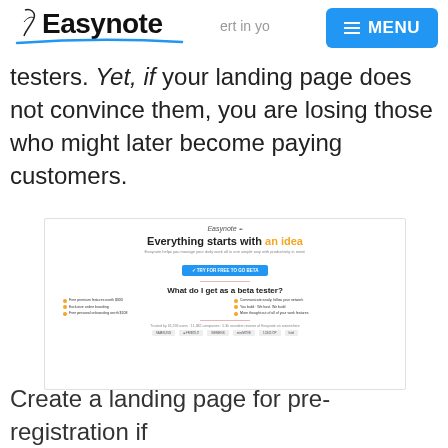[Figure (logo): Easynote logo with feather pen icon and blue curved underline, plus MENU button in blue]
testers. Yet, if your landing page does not convince them, you are losing those who might later become paying customers.
[Figure (screenshot): Screenshot of Easynote landing page showing 'Everything starts with an idea' headline, beta tester signup button, features list, and company logos]
Create a landing page for pre-registration if